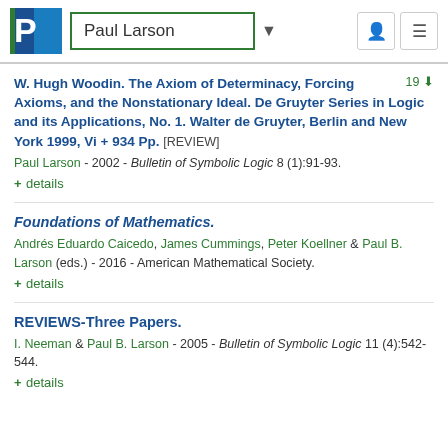Paul Larson
W. Hugh Woodin. The Axiom of Determinacy, Forcing Axioms, and the Nonstationary Ideal. De Gruyter Series in Logic and its Applications, No. 1. Walter de Gruyter, Berlin and New York 1999, Vi + 934 Pp. [REVIEW]
Paul Larson - 2002 - Bulletin of Symbolic Logic 8 (1):91-93.
+ details
Foundations of Mathematics.
Andrés Eduardo Caicedo, James Cummings, Peter Koellner & Paul B. Larson (eds.) - 2016 - American Mathematical Society.
+ details
REVIEWS-Three Papers.
I. Neeman & Paul B. Larson - 2005 - Bulletin of Symbolic Logic 11 (4):542-544.
+ details